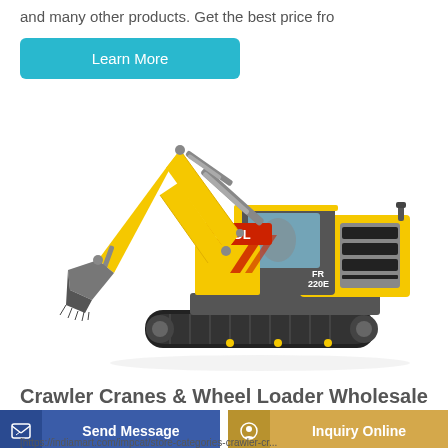and many other products. Get the best price fro
Learn More
[Figure (photo): Yellow Lovol crawler excavator with black arm and bucket, on white background, model FR220E visible on chassis]
Crawler Cranes & Wheel Loader Wholesale
Send Message
Inquiry Online
[https://indiamart.com/impcat/store-categories-crawler-cr...